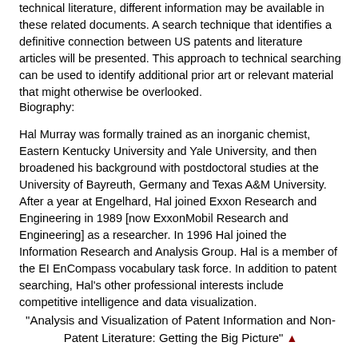technical literature, different information may be available in these related documents. A search technique that identifies a definitive connection between US patents and literature articles will be presented. This approach to technical searching can be used to identify additional prior art or relevant material that might otherwise be overlooked.
Biography:
Hal Murray was formally trained as an inorganic chemist, Eastern Kentucky University and Yale University, and then broadened his background with postdoctoral studies at the University of Bayreuth, Germany and Texas A&M University. After a year at Engelhard, Hal joined Exxon Research and Engineering in 1989 [now ExxonMobil Research and Engineering] as a researcher. In 1996 Hal joined the Information Research and Analysis Group. Hal is a member of the EI EnCompass vocabulary task force. In addition to patent searching, Hal's other professional interests include competitive intelligence and data visualization.
"Analysis and Visualization of Patent Information and Non-Patent Literature: Getting the Big Picture" ▲